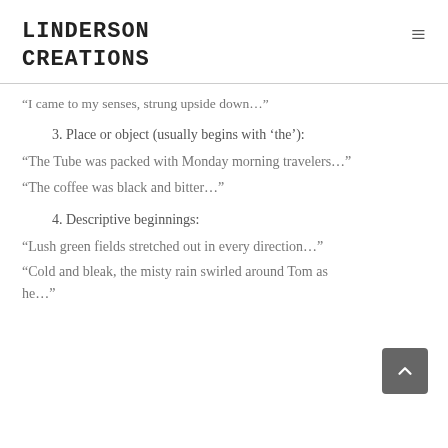LINDERSON CREATIONS
“I came to my senses, strung upside down…”
3. Place or object (usually begins with ‘the’):
“The Tube was packed with Monday morning travelers…”
“The coffee was black and bitter…”
4. Descriptive beginnings:
“Lush green fields stretched out in every direction…”
“Cold and bleak, the misty rain swirled around Tom as he…”